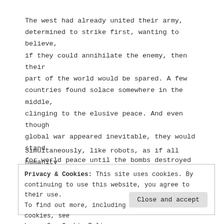The west had already united their army, determined to strike first, wanting to believe, if they could annihilate the enemy, then their part of the world would be spared. A few countries found solace somewhere in the middle, clinging to the elusive peace. And even though global war appeared inevitable, they would stand for world peace until the bombs destroyed them or the radiation made them ill.
Simultaneously, like robots, as if all humanity
Privacy & Cookies: This site uses cookies. By continuing to use this website, you agree to their use. To find out more, including how to control cookies, see here: Our Cookie Policy
Close and accept